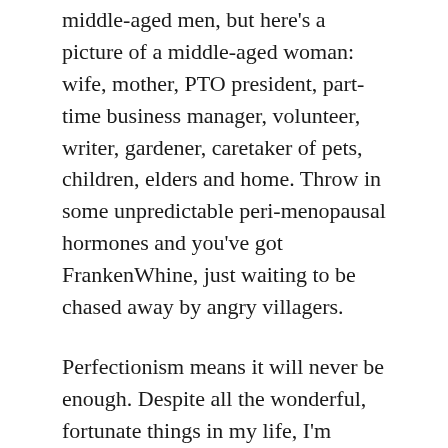middle-aged men, but here's a picture of a middle-aged woman: wife, mother, PTO president, part-time business manager, volunteer, writer, gardener, caretaker of pets, children, elders and home. Throw in some unpredictable peri-menopausal hormones and you've got FrankenWhine, just waiting to be chased away by angry villagers.
Perfectionism means it will never be enough. Despite all the wonderful, fortunate things in my life, I'm living in a mindset that says I'll always be hungry and dissatisfied. Except at this very moment. Writing is my way home, my escape from the mental trap of perfectionism. When I write, I feel good enough. And when I don't write, I drive myself to excel at everything else. Often everything else has something to say in the matter...